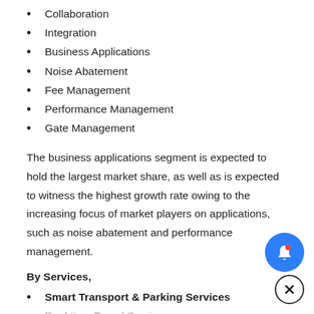Collaboration
Integration
Business Applications
Noise Abatement
Fee Management
Performance Management
Gate Management
The business applications segment is expected to hold the largest market share, as well as is expected to witness the highest growth rate owing to the increasing focus of market players on applications, such as noise abatement and performance management.
By Services,
Smart Transport & Parking Services
Real-time Travel Services
Intelligent Transport Services
Trip Concierge